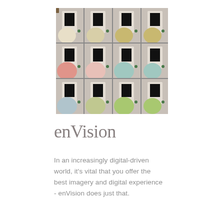[Figure (photo): A 4-column by 3-row grid of armchairs rendered in different fabric colors (cream, gold, salmon, pink, teal, blue, sage, green) placed in front of a white fireplace in a grey room interior.]
enVision
In an increasingly digital-driven world, it's vital that you offer the best imagery and digital experience - enVision does just that.